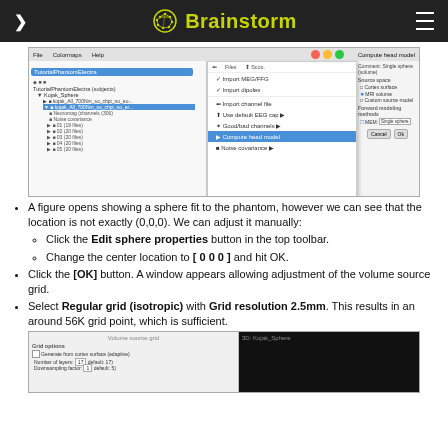Brainstorm
[Figure (screenshot): Brainstorm application screenshot showing the file tree with TutorialPhantomElectra subject, a context menu with options including Import MEG/FEG, Import dipoles, Import channel file, Use default EEG cap, Good/bad channels, Compute head model (highlighted in blue), and Noise covariance. On the right side is a 'Compute head model' dialog with Single sphere (volume) selected and MRI volume option chosen, Forward modeling methods set to Single sphere.]
A figure opens showing a sphere fit to the phantom, however we can see that the location is not exactly (0,0,0). We can adjust it manually:
Click the Edit sphere properties button in the top toolbar.
Change the center location to [ 0 0 0 ] and hit OK.
Click the [OK] button. A window appears allowing adjustment of the volume source grid.
Select Regular grid (isotropic) with Grid resolution 2.5mm. This results in an around 56K grid point, which is sufficient.
[Figure (screenshot): Two side-by-side panels: Left shows 'Volume source grid' dialog with Grid options including 'Generate from cortex surface (adaptive)', Number of layers: 17 (default: 17), Downsampling factor: 1 (default: 5). Right shows '3D: Kojak_Sphere' dark 3D view.]